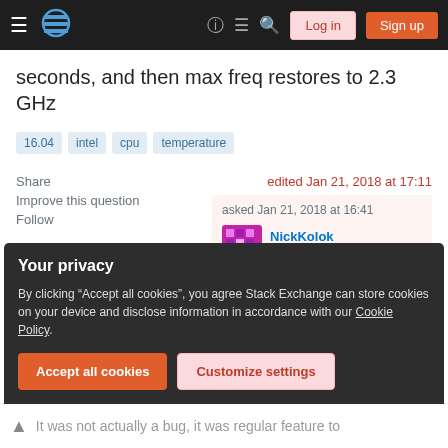Stack Exchange navigation bar with Log in and Sign up buttons
seconds, and then max freq restores to 2.3 GHz
16.04
intel
cpu
temperature
Share   edited Jan 21, 2018 at 17:11
Improve this question
Follow
asked Jan 21, 2018 at 16:41
NickKolok
119 ● 3
Your privacy
By clicking "Accept all cookies", you agree Stack Exchange can store cookies on your device and disclose information in accordance with our Cookie Policy.
Accept all cookies   Customize settings
It was not actually a bug, it was regular feature to